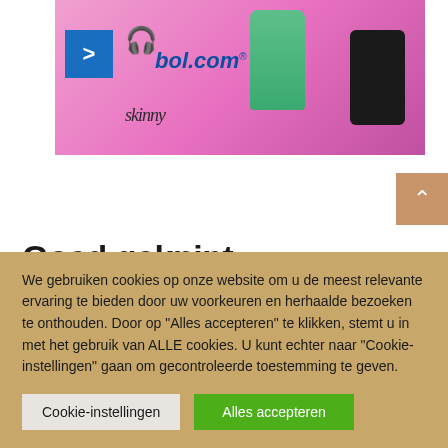[Figure (screenshot): bol.com advertisement banner with blue arrow button, wireless earbuds, bol.com logo, green bottle, black phone, and pink/magenta background with 'skinny' text]
Goed geknipt
[Figure (photo): Photo of a person's head from behind, with a gray panel on the right side]
We gebruiken cookies op onze website om u de meest relevante ervaring te bieden door uw voorkeuren en herhaalde bezoeken te onthouden. Door op "Alles accepteren" te klikken, stemt u in met het gebruik van ALLE cookies. U kunt echter naar "Cookie-instellingen" gaan om gecontroleerde toestemming te geven.
Cookie-instellingen
Alles accepteren